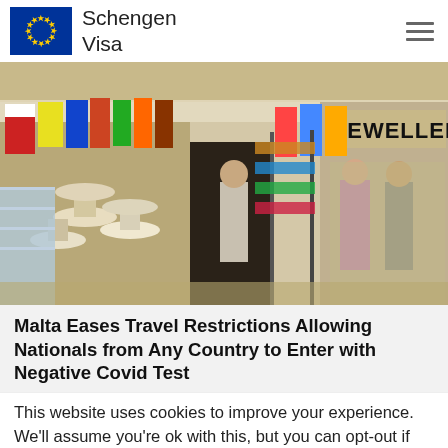Schengen Visa
[Figure (photo): Outdoor market/souvenir shop scene with hats, flags, and tourists browsing merchandise. A JEWELLERY store sign is visible in the background.]
Malta Eases Travel Restrictions Allowing Nationals from Any Country to Enter with Negative Covid Test
This website uses cookies to improve your experience. We'll assume you're ok with this, but you can opt-out if you wish. Cookie settings ACCEPT